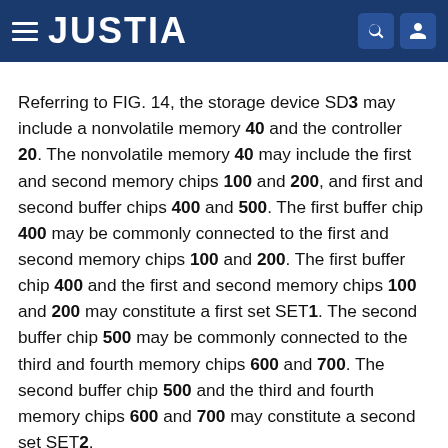JUSTIA
Referring to FIG. 14, the storage device SD3 may include a nonvolatile memory 40 and the controller 20. The nonvolatile memory 40 may include the first and second memory chips 100 and 200, and first and second buffer chips 400 and 500. The first buffer chip 400 may be commonly connected to the first and second memory chips 100 and 200. The first buffer chip 400 and the first and second memory chips 100 and 200 may constitute a first set SET1. The second buffer chip 500 may be commonly connected to the third and fourth memory chips 600 and 700. The second buffer chip 500 and the third and fourth memory chips 600 and 700 may constitute a second set SET2.
The first buffer chip 400 may be connected between the first to third pins P1 to P3 and the first and second